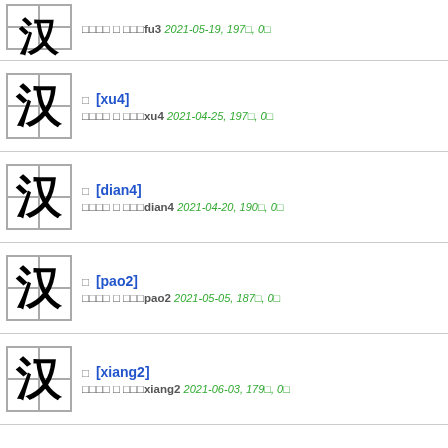□□□□ □ □□□fu3 2021-05-19, 197□, 0□
□ [xu4] □□□□ □ □□□xu4 2021-04-25, 197□, 0□
□ [dian4] □□□□ □ □□□dian4 2021-04-20, 190□, 0□
□ [pao2] □□□□ □ □□□pao2 2021-05-05, 187□, 0□
□ [xiang2] □□□□ □ □□□xiang2 2021-06-03, 179□, 0□